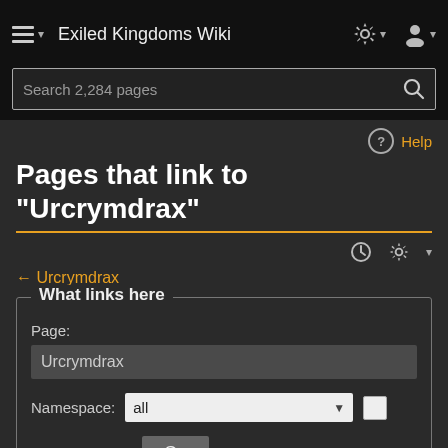Exiled Kingdoms Wiki
Search 2,284 pages
Help
Pages that link to "Urcrymdrax"
← Urcrymdrax
What links here
Page:
Urcrymdrax
Namespace: all
Invert selection  Go